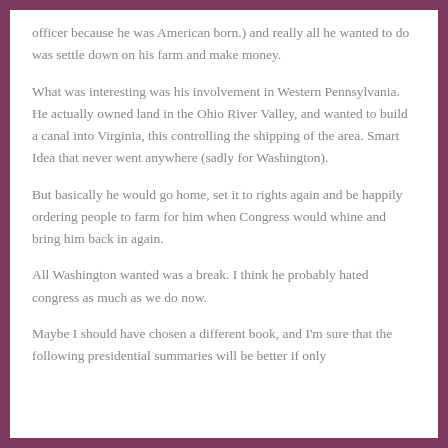officer because he was American born.) and really all he wanted to do was settle down on his farm and make money.
What was interesting was his involvement in Western Pennsylvania. He actually owned land in the Ohio River Valley, and wanted to build a canal into Virginia, this controlling the shipping of the area. Smart Idea that never went anywhere (sadly for Washington).
But basically he would go home, set it to rights again and be happily ordering people to farm for him when Congress would whine and bring him back in again.
All Washington wanted was a break. I think he probably hated congress as much as we do now.
Maybe I should have chosen a different book, and I'm sure that the following presidential summaries will be better if only